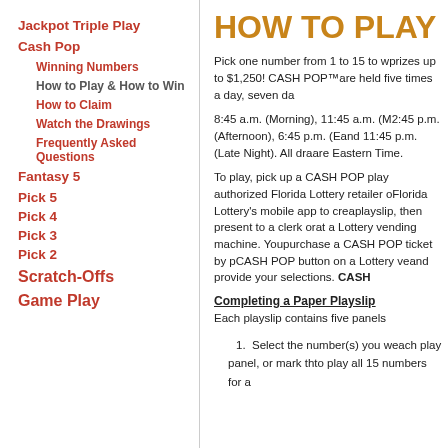Jackpot Triple Play
Cash Pop
Winning Numbers
How to Play & How to Win
How to Claim
Watch the Drawings
Frequently Asked Questions
Fantasy 5
Pick 5
Pick 4
Pick 3
Pick 2
Scratch-Offs
Game Play
HOW TO PLAY
Pick one number from 1 to 15 to win prizes up to $1,250! CASH POP™ are held five times a day, seven da...
8:45 a.m. (Morning), 11:45 a.m. (M... 2:45 p.m. (Afternoon), 6:45 p.m. (E... and 11:45 p.m. (Late Night). All dra... are Eastern Time.
To play, pick up a CASH POP play... authorized Florida Lottery retailer o... Florida Lottery's mobile app to crea... playslip, then present to a clerk or at a Lottery vending machine. You... purchase a CASH POP ticket by p... CASH POP button on a Lottery ve... and provide your selections. CASH...
Completing a Paper Playslip
Each playslip contains five panels...
Select the number(s) you w... each play panel, or mark th... to play all 15 numbers for a...